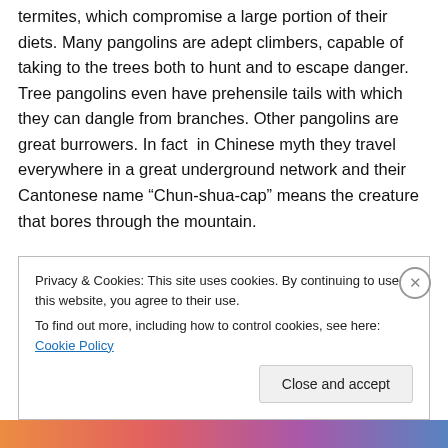termites, which compromise a large portion of their diets. Many pangolins are adept climbers, capable of taking to the trees both to hunt and to escape danger. Tree pangolins even have prehensile tails with which they can dangle from branches. Other pangolins are great burrowers. In fact  in Chinese myth they travel everywhere in a great underground network and their Cantonese name “Chun-shua-cap” means the creature that bores through the mountain.
Privacy & Cookies: This site uses cookies. By continuing to use this website, you agree to their use.
To find out more, including how to control cookies, see here: Cookie Policy